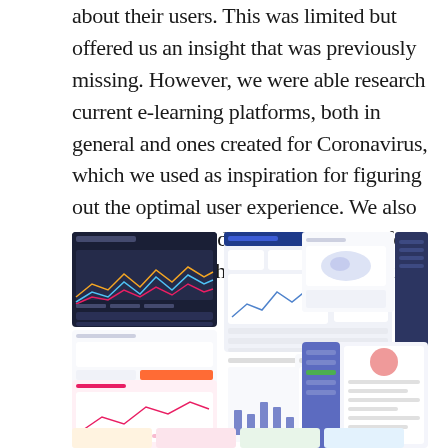about their users. This was limited but offered us an insight that was previously missing. However, we were able research current e-learning platforms, both in general and ones created for Coronavirus, which we used as inspiration for figuring out the optimal user experience. We also explored current design conventions for a website such as this to better guide our designs.
[Figure (screenshot): A collage of multiple UI/dashboard screenshots showing various analytics, e-learning, and data visualization interfaces with dark and light themes.]